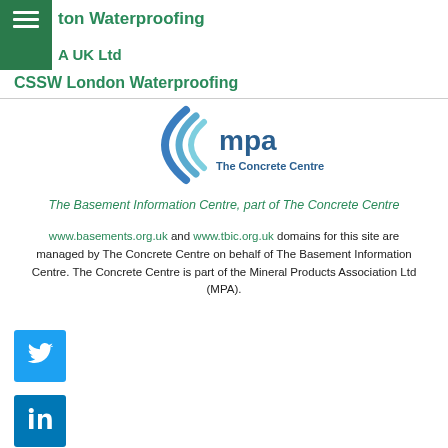ton Waterproofing
A UK Ltd
CSSW London Waterproofing
[Figure (logo): MPA The Concrete Centre logo with stylized parenthesis arc shapes in blue and teal]
The Basement Information Centre, part of The Concrete Centre
www.basements.org.uk and www.tbic.org.uk domains for this site are managed by The Concrete Centre on behalf of The Basement Information Centre. The Concrete Centre is part of the Mineral Products Association Ltd (MPA).
[Figure (logo): Twitter social media button (blue square with white bird icon)]
[Figure (logo): LinkedIn social media button (blue square with white 'in' icon)]